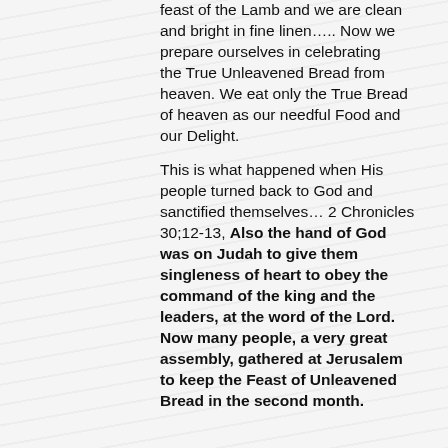feast of the Lamb and we are clean and bright in fine linen….. Now we prepare ourselves in celebrating the True Unleavened Bread from heaven. We eat only the True Bread of heaven as our needful Food and our Delight.
This is what happened when His people turned back to God and sanctified themselves… 2 Chronicles 30;12-13, Also the hand of God was on Judah to give them singleness of heart to obey the command of the king and the leaders, at the word of the Lord. Now many people, a very great assembly, gathered at Jerusalem to keep the Feast of Unleavened Bread in the second month.